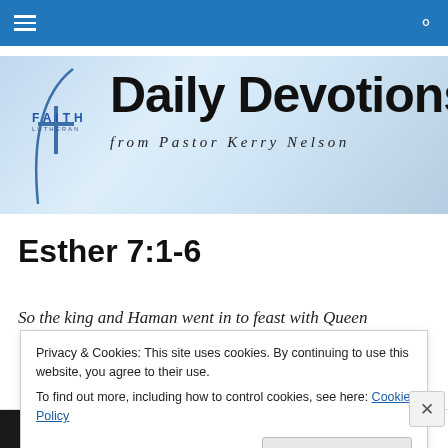[Figure (screenshot): Blue navigation bar with hamburger menu icon on left and search icon on right]
[Figure (illustration): Faith Lutheran Daily Devotions from Pastor Kerry Nelson banner with blue arc logo and large bold text on light blue gradient background]
Esther 7:1-6
So the king and Haman went in to feast with Queen
Privacy & Cookies: This site uses cookies. By continuing to use this website, you agree to their use.
To find out more, including how to control cookies, see here: Cookie Policy
Close and accept
[Figure (screenshot): Bottom ad bar with 'All in One Free App' on dark background and DuckDuckGo logo]